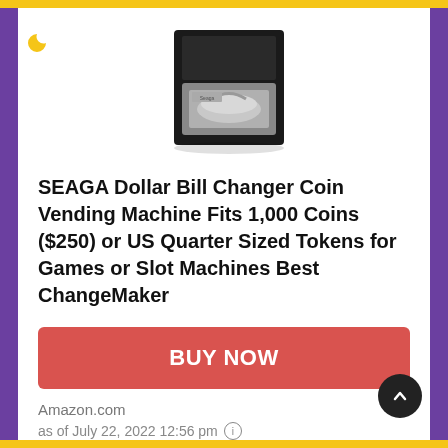[Figure (photo): Product image of a SEAGA Dollar Bill Changer Coin Vending Machine — a black box-shaped machine with a metallic coin drawer tray, shown from a slight angle.]
SEAGA Dollar Bill Changer Coin Vending Machine Fits 1,000 Coins ($250) or US Quarter Sized Tokens for Games or Slot Machines Best ChangeMaker
BUY NOW
Amazon.com
as of July 22, 2022 12:56 pm ⓘ